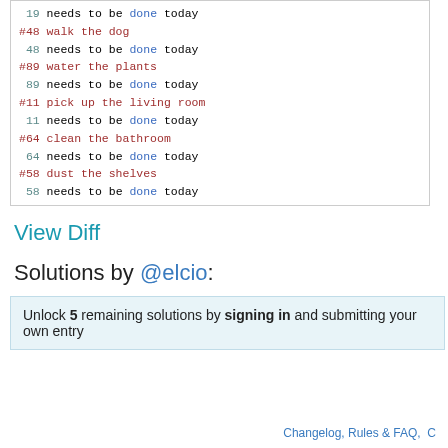19 needs to be done today
#48 walk the dog
 48 needs to be done today
#89 water the plants
 89 needs to be done today
#11 pick up the living room
 11 needs to be done today
#64 clean the bathroom
 64 needs to be done today
#58 dust the shelves
 58 needs to be done today
View Diff
Solutions by @elcio:
Unlock 5 remaining solutions by signing in and submitting your own entry